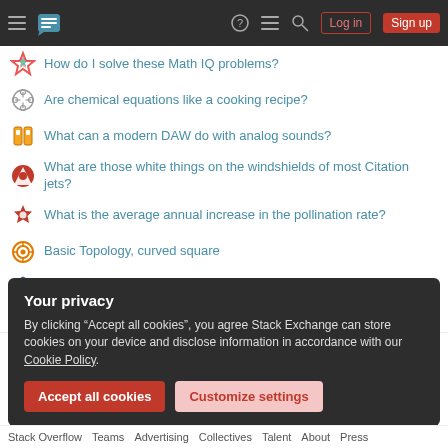Stack Exchange navigation bar with Log in and Sign up buttons
How do I solve these Math IQ problems?
Are chemical equations like a cooking recipe?
What can a modern DAW do with analog sounds?
What are those white things on the windshields of most Citation jets?
What is the average annual increase in the pollination rate?
Basic Topology, curved square
What is the name of this concept involving hashes?
more hot questions
Your privacy
By clicking "Accept all cookies", you agree Stack Exchange can store cookies on your device and disclose information in accordance with our Cookie Policy.
Accept all cookies | Customize settings
Stack Overflow  Teams  Advertising  Collectives  Talent  About  Press